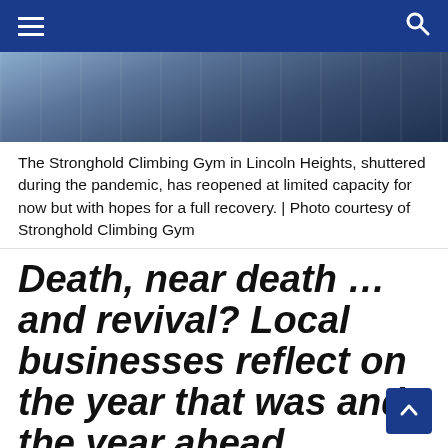Navigation bar with menu and search icons
[Figure (photo): Photo of Stronghold Climbing Gym interior showing climbing walls and equipment]
The Stronghold Climbing Gym in Lincoln Heights, shuttered during the pandemic, has reopened at limited capacity for now but with hopes for a full recovery. | Photo courtesy of Stronghold Climbing Gym
Death, near death … and revival? Local businesses reflect on the year that was and the year ahead
03/27/2021  Bill Hendrickson  3226